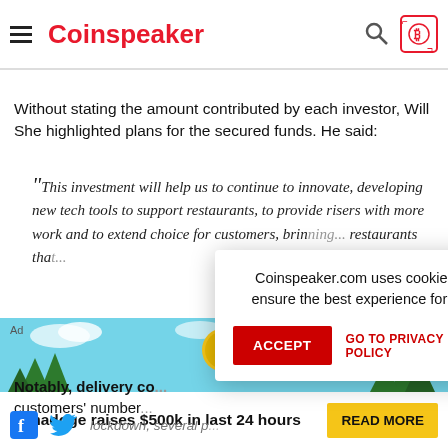Coinspeaker
Without stating the amount contributed by each investor, Will She highlighted plans for the secured funds. He said:
“This investment will help us to continue to innovate, developing new tech tools to support restaurants, to provide risers with more work and to extend choice for customers, brin... restaurants tha...
Notably, delivery co... customers’ number... lockdown, several p... were restrictions in...
[Figure (screenshot): Cookie consent popup overlay: 'Coinspeaker.com uses cookies to ensure the best experience for you' with ACCEPT button and GO TO PRIVACY POLICY link]
[Figure (infographic): Tamadoge advertisement banner at bottom of page showing 'Tamadoge raises $500k in last 24 hours' with READ MORE button]